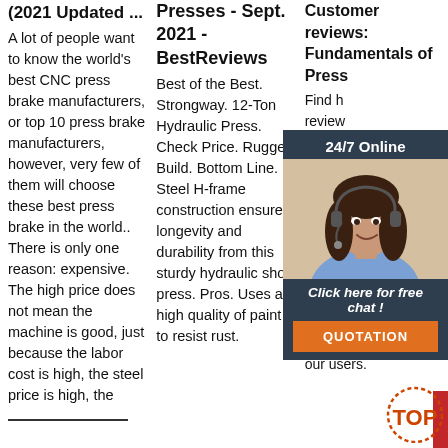(2021 Updated ...
A lot of people want to know the world's best CNC press brake manufacturers, or top 10 press brake manufacturers, however, very few of them will choose these best press brake in the world.. There is only one reason: expensive. The high price does not mean the machine is good, just because the labor cost is high, the steel price is high, the [cut off] price is
Presses - Sept. 2021 - BestReviews
Best of the Best. Strongway. 12-Ton Hydraulic Press. Check Price. Rugged Build. Bottom Line. Steel H-frame construction ensures longevity and durability from this sturdy hydraulic shop press. Pros. Uses a high quality of paint to resist rust.
[Figure (other): Get Price red button]
Customer reviews: Fundamentals of Press
Find h[cut] review[cut] ratings[cut] Funda[cut] Press b[cut] The B[cut] Inform[cut] Need t[cut] Order [cut] Form Good Parts at Amazon.com. Read honest and unbiased product reviews from our users.
[Figure (infographic): 24/7 Online chat advertisement overlay with woman in headset photo and orange QUOTATION button]
[Figure (logo): TOP logo in orange/red dotted circle style]